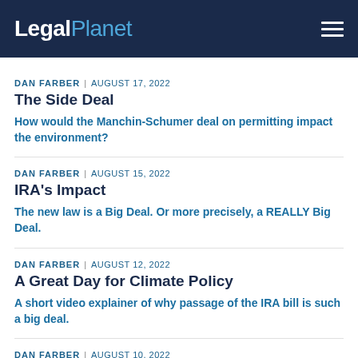LegalPlanet
DAN FARBER | AUGUST 17, 2022
The Side Deal
How would the Manchin-Schumer deal on permitting impact the environment?
DAN FARBER | AUGUST 15, 2022
IRA's Impact
The new law is a Big Deal. Or more precisely, a REALLY Big Deal.
DAN FARBER | AUGUST 12, 2022
A Great Day for Climate Policy
A short video explainer of why passage of the IRA bill is such a big deal.
DAN FARBER | AUGUST 10, 2022